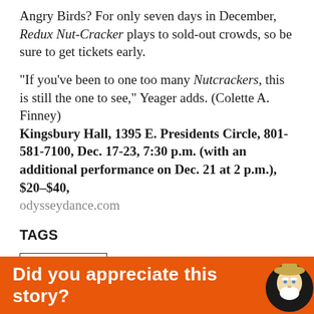Angry Birds? For only seven days in December, Redux Nut-Cracker plays to sold-out crowds, so be sure to get tickets early.
"If you've been to one too many Nutcrackers, this is still the one to see," Yeager adds. (Colette A. Finney)
Kingsbury Hall, 1395 E. Presidents Circle, 801-581-7100, Dec. 17-23, 7:30 p.m. (with an additional performance on Dec. 21 at 2 p.m.), $20-$40,
odysseydance.com
TAGS
COVER STORY
[Figure (infographic): Orange banner at bottom with white text 'Did you appreciate this story?' and an illustrated cartoon figure on the right.]